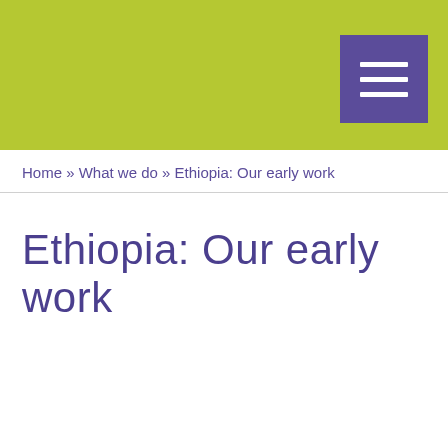Ethiopia: Our early work
Home » What we do » Ethiopia: Our early work
Ethiopia: Our early work